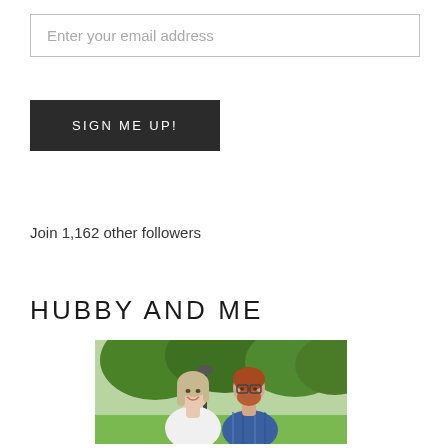Enter your email address
SIGN ME UP!
Join 1,162 other followers
HUBBY AND ME
[Figure (photo): A couple standing outdoors in a park setting. A woman with shoulder-length blonde hair wearing a white blouse is in front, and a man with red hair and a beard wearing glasses and a blue plaid shirt stands behind her. Green trees are visible in the background.]